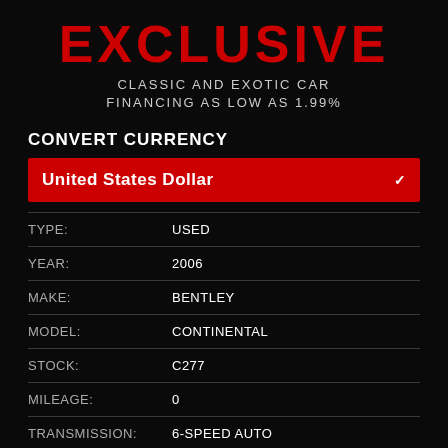EXCLUSIVE
CLASSIC AND EXOTIC CAR FINANCING AS LOW AS 1.99%
CONVERT CURRENCY
United States Dollar
| FIELD | VALUE |
| --- | --- |
| TYPE: | USED |
| YEAR: | 2006 |
| MAKE: | BENTLEY |
| MODEL: | CONTINENTAL |
| STOCK: | C277 |
| MILEAGE: | 0 |
| TRANSMISSION: | 6-SPEED AUTO |